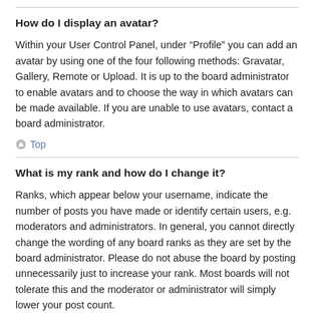How do I display an avatar?
Within your User Control Panel, under “Profile” you can add an avatar by using one of the four following methods: Gravatar, Gallery, Remote or Upload. It is up to the board administrator to enable avatars and to choose the way in which avatars can be made available. If you are unable to use avatars, contact a board administrator.
Top
What is my rank and how do I change it?
Ranks, which appear below your username, indicate the number of posts you have made or identify certain users, e.g. moderators and administrators. In general, you cannot directly change the wording of any board ranks as they are set by the board administrator. Please do not abuse the board by posting unnecessarily just to increase your rank. Most boards will not tolerate this and the moderator or administrator will simply lower your post count.
Top